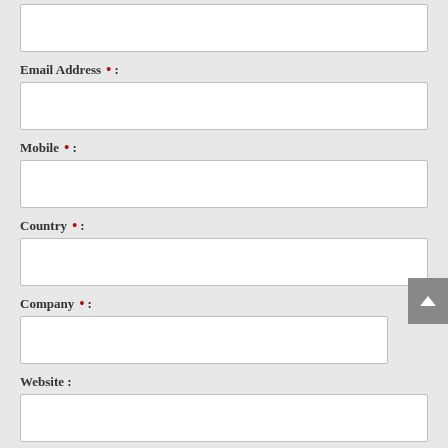(unlabeled input field at top)
Email Address • :
Mobile • :
Country • :
Company • :
Website :
Follow the form to contact us